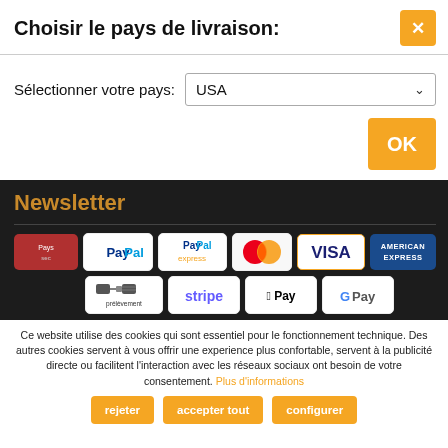Choisir le pays de livraison:
Sélectionner votre pays: USA
OK
Newsletter
[Figure (screenshot): Payment method icons: Paysec, PayPal, PayPal Express, Mastercard, Visa, American Express, prélèvement, Stripe, Apple Pay, Google Pay]
Ce website utilise des cookies qui sont essentiel pour le fonctionnement technique. Des autres cookies servent à vous offrir une experience plus confortable, servent à la publicité directe ou facilitent l'interaction avec les réseaux sociaux ont besoin de votre consentement. Plus d'informations
rejeter
accepter tout
configurer